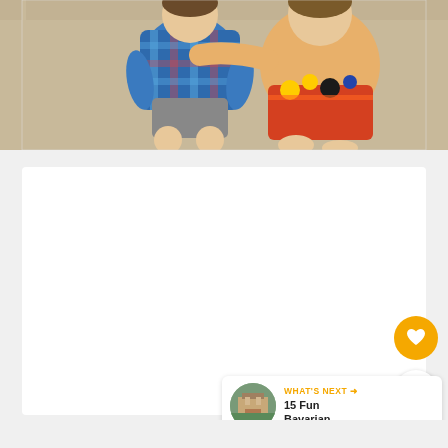[Figure (photo): Two young children sitting on a sandy beach. The smaller child is wearing a plaid shirt and grey shorts; the older child wears Mickey Mouse swim trunks.]
[Figure (screenshot): White card/content area placeholder below the beach photo, with a heart (favorite) button and share button on the right side, and a 'What's Next' recommendation card showing '15 Fun Bavarian...' with a thumbnail of a building.]